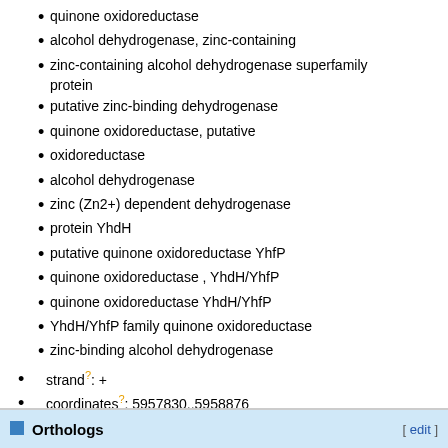quinone oxidoreductase
alcohol dehydrogenase, zinc-containing
zinc-containing alcohol dehydrogenase superfamily protein
putative zinc-binding dehydrogenase
quinone oxidoreductase, putative
oxidoreductase
alcohol dehydrogenase
zinc (Zn2+) dependent dehydrogenase
protein YhdH
putative quinone oxidoreductase YhfP
quinone oxidoreductase , YhdH/YhfP
quinone oxidoreductase YhdH/YhfP
YhdH/YhfP family quinone oxidoreductase
zinc-binding alcohol dehydrogenase
strand?: +
coordinates?: 5957830..5958876
synteny block?: BlockID0046310
occurrence?: in 100% of 33 strains
Orthologs